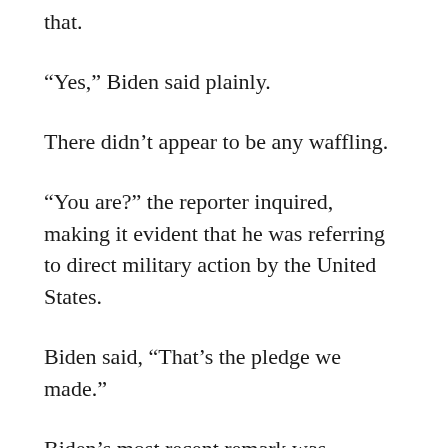that.
“Yes,” Biden said plainly.
There didn’t appear to be any waffling.
“You are?” the reporter inquired, making it evident that he was referring to direct military action by the United States.
Biden said, “That’s the pledge we made.”
Biden’s most recent remark was factually incorrect. The Taiwan Relations Act of 1979 governs US policy toward Taiwan, passed after